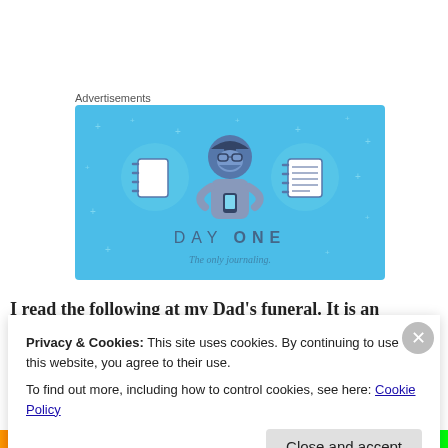Advertisements
[Figure (illustration): Day One journaling app advertisement on a light blue background. Shows a cartoon person holding a phone, flanked by two circular icons containing notebook images. Text reads 'DAY ONE' and 'The only journaling.']
I read the following at my Dad's funeral. It is an excerpt
Privacy & Cookies: This site uses cookies. By continuing to use this website, you agree to their use.
To find out more, including how to control cookies, see here: Cookie Policy
Close and accept